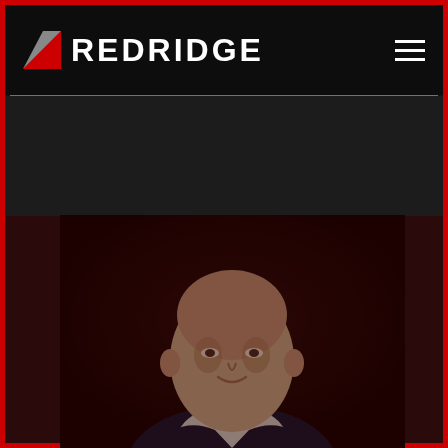REDRIDGE
[Figure (photo): Professional headshot of a middle-aged bald man in a dark suit with white shirt, photographed against a dark background with subtle red-tinted lighting]